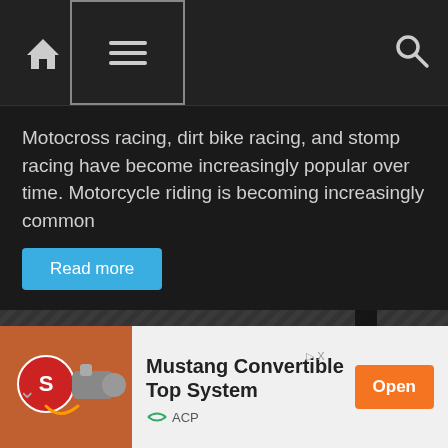Navigation bar with home, menu, and search icons
Motocross racing, dirt bike racing, and stomp racing have become increasingly popular over time. Motorcycle riding is becoming increasingly common
Read more
[Figure (photo): Close-up photo of a carbon fiber surface with a white card showing the text 'LOCAL BUSINESS']
[Figure (photo): Advertisement showing a Mustang Convertible Top System product image with an orange product on a reddish background]
Mustang Convertible Top System
ACP
Open